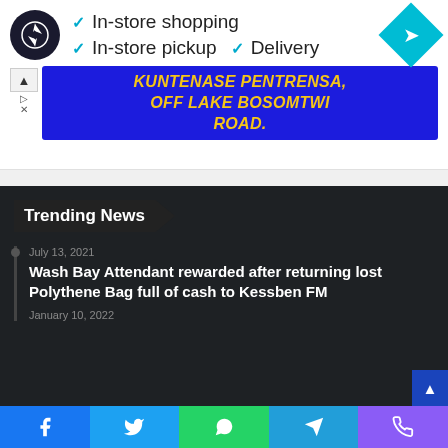[Figure (screenshot): Google-style store info ad with circular logo, checkmarks for In-store shopping, In-store pickup, Delivery, and cyan diamond navigation icon]
[Figure (infographic): Blue banner advertisement with yellow bold italic text: KUNTENASE PENTRENSA, OFF LAKE BOSOMTWI ROAD.]
Trending News
July 13, 2021
Wash Bay Attendant rewarded after returning lost Polythene Bag full of cash to Kessben FM
January 10, 2022